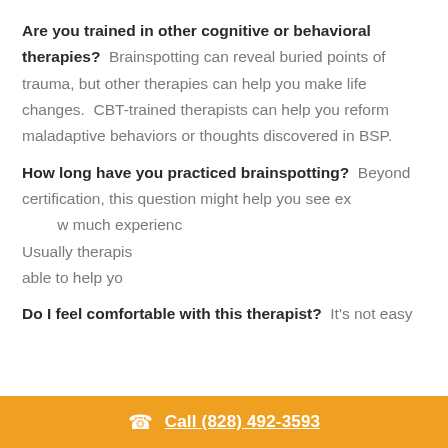Are you trained in other cognitive or behavioral therapies? Brainspotting can reveal buried points of trauma, but other therapies can help you make life changes. CBT-trained therapists can help you reform maladaptive behaviors or thoughts discovered in BSP.
How long have you practiced brainspotting? Beyond certification, this question might help you see experience. How much experience... Usually therapists... able to help you...
[Figure (screenshot): Chat widget popup with close button, therapist avatar photo, message 'Hi there, have a question? Text us here.' and a blue chat button icon.]
Do I feel comfortable with this therapist? It's not easy
Call (828) 492-3593